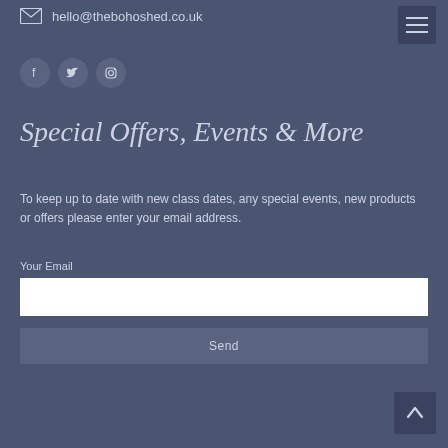hello@thebohoshed.co.uk
[Figure (illustration): Social media icons for Facebook, Twitter, and Instagram as circular grey buttons]
Special Offers, Events & More
To keep up to date with new class dates, any special events, new products or offers please enter your email address.
Your Email
Send